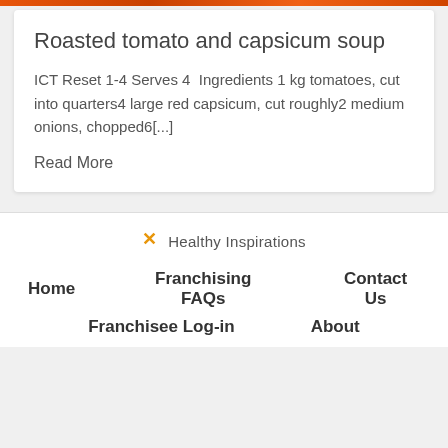[Figure (photo): Top strip image of roasted tomatoes/capsicum in orange-red tones]
Roasted tomato and capsicum soup
ICT Reset 1-4 Serves 4  Ingredients 1 kg tomatoes, cut into quarters4 large red capsicum, cut roughly2 medium onions, chopped6[...]
Read More
[Figure (logo): Healthy Inspirations logo with orange X icon]
Home
Franchising FAQs
Contact Us
Franchisee Log-in
About